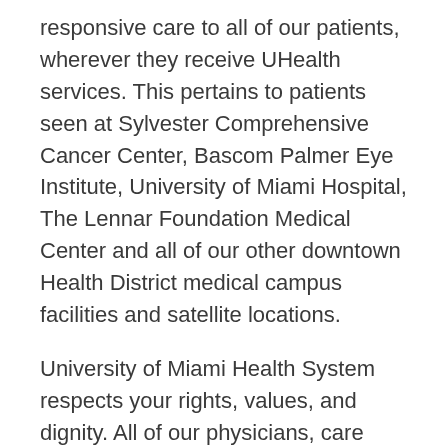responsive care to all of our patients, wherever they receive UHealth services. This pertains to patients seen at Sylvester Comprehensive Cancer Center, Bascom Palmer Eye Institute, University of Miami Hospital, The Lennar Foundation Medical Center and all of our other downtown Health District medical campus facilities and satellite locations.
University of Miami Health System respects your rights, values, and dignity. All of our physicians, care teams, and staff members are dedicated to providing patients and their families with high-quality medical care.
University of Miami Health System does not discriminate or restrict visitation on the basis of basis of age, race, color, ethnicity, religion, culture, language, physical or mental disability, socioeconomic status, sex, sexual orientation, gender identity or